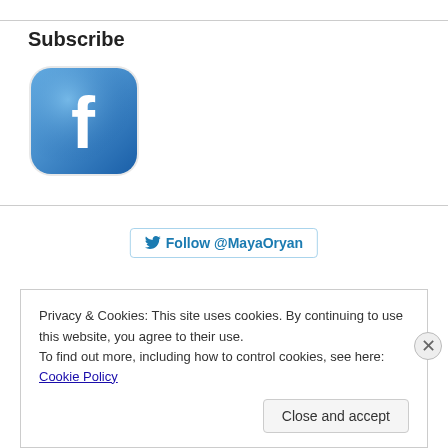Subscribe
[Figure (logo): Facebook app icon — rounded square with blue gradient background and white 'f' letter logo]
[Figure (other): Twitter Follow button: bird icon followed by bold text 'Follow @MayaOryan', styled as a rounded-rect bordered button]
Privacy & Cookies: This site uses cookies. By continuing to use this website, you agree to their use.
To find out more, including how to control cookies, see here: Cookie Policy
Close and accept